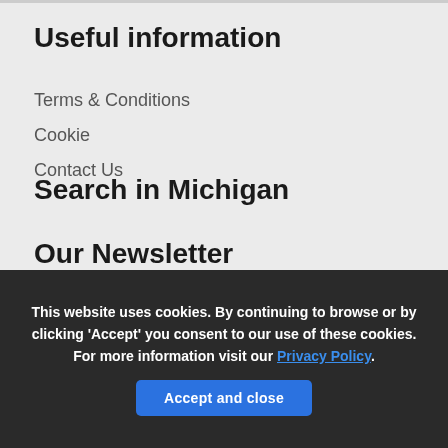Useful information
Terms & Conditions
Cookie
Contact Us
Search in Michigan
Our Newsletter
This website uses cookies. By continuing to browse or by clicking 'Accept' you consent to our use of these cookies. For more information visit our Privacy Policy.
Accept and close